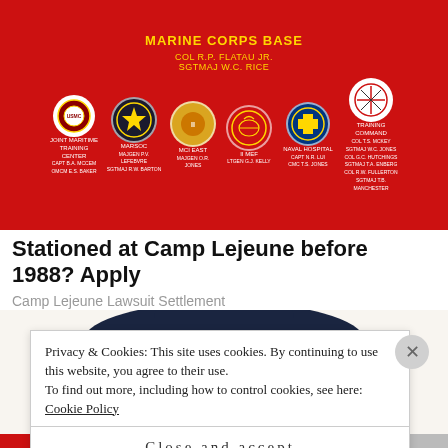[Figure (photo): Red Marine Corps Base sign with gold text reading 'MARINE CORPS BASE', 'COL R.P. FLATAU JR.', 'SGTMAJ W.C. RICE', with multiple military unit circular emblems/badges arranged across the sign, trees visible in background]
Stationed at Camp Lejeune before 1988? Apply
Camp Lejeune Lawsuit Settlement
[Figure (illustration): Quaker Oats man character — smiling elderly man with white hair wearing a large dark navy wide-brimmed hat, depicted from shoulders up]
Privacy & Cookies: This site uses cookies. By continuing to use this website, you agree to their use.
To find out more, including how to control cookies, see here: Cookie Policy
Close and accept